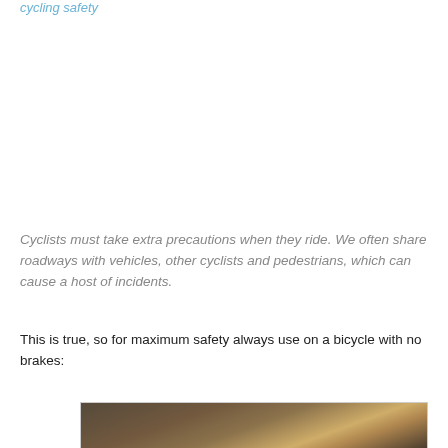cycling safety
Cyclists must take extra precautions when they ride. We often share roadways with vehicles, other cyclists and pedestrians, which can cause a host of incidents.
This is true, so for maximum safety always use on a bicycle with no brakes:
[Figure (photo): A night-time photograph showing a cyclist or bicycle scene with bokeh lights in the background]